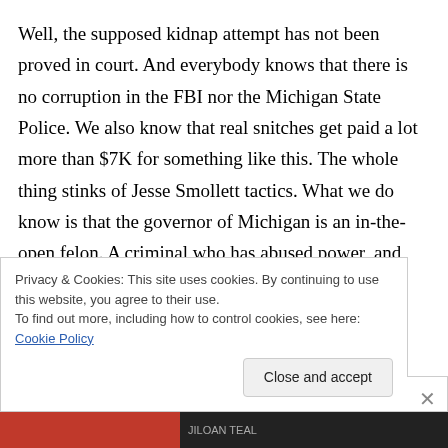Well, the supposed kidnap attempt has not been proved in court. And everybody knows that there is no corruption in the FBI nor the Michigan State Police. We also know that real snitches get paid a lot more than $7K for something like this. The whole thing stinks of Jesse Smollett tactics. What we do know is that the governor of Michigan is an in-the-open felon. A criminal who has abused power, and has violated Title 18 USC Sec 242. She has caused the death of
Privacy & Cookies: This site uses cookies. By continuing to use this website, you agree to their use.
To find out more, including how to control cookies, see here: Cookie Policy
Close and accept